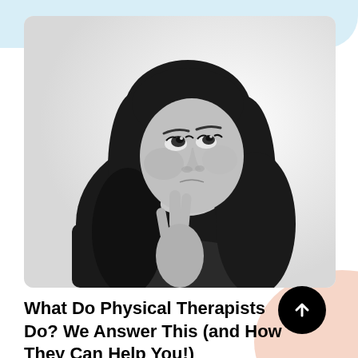[Figure (photo): Black and white photo of a young woman with dark hair, looking upward thoughtfully with her finger touching her chin, against a white background]
What Do Physical Therapists Do? We Answer This (and How They Can Help You!)